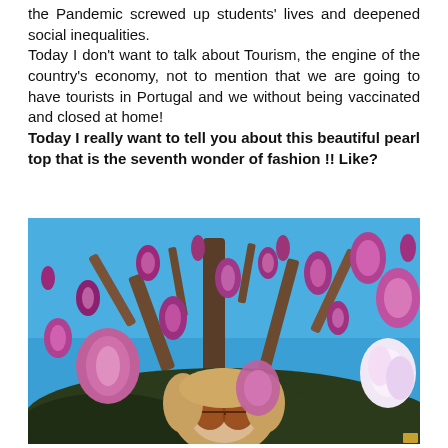the Pandemic screwed up students' lives and deepened social inequalities.
Today I don't want to talk about Tourism, the engine of the country's economy, not to mention that we are going to have tourists in Portugal and we without being vaccinated and closed at home!
Today I really want to tell you about this beautiful pearl top that is the seventh wonder of fashion !! Like?
[Figure (photo): A woman with blonde hair and round sunglasses standing beneath a blooming magnolia tree with large purple-pink flowers against a blue sky background.]